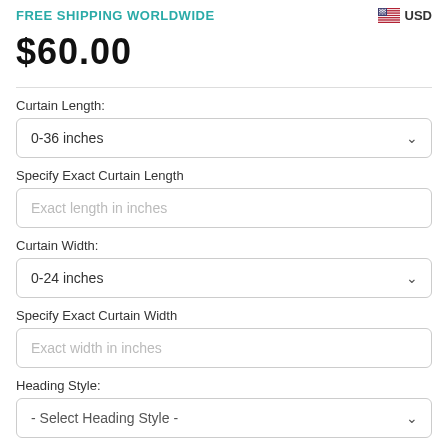FREE SHIPPING WORLDWIDE
USD
$60.00
Curtain Length:
0-36 inches
Specify Exact Curtain Length
Exact length in inches
Curtain Width:
0-24 inches
Specify Exact Curtain Width
Exact width in inches
Heading Style:
- Select Heading Style -